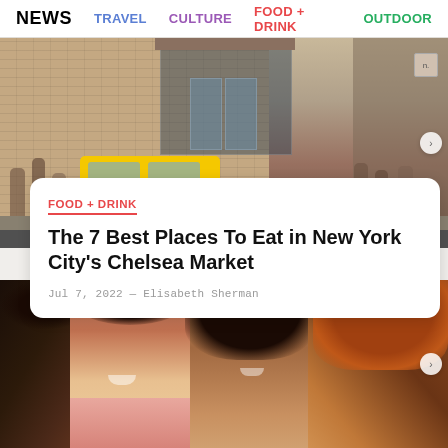NEWS  TRAVEL  CULTURE  FOOD + DRINK  OUTDOOR
[Figure (photo): Street scene with yellow taxi cab in front of a brick building, pedestrians on sidewalk]
FOOD + DRINK
The 7 Best Places To Eat in New York City's Chelsea Market
Jul 7, 2022 — Elisabeth Sherman
[Figure (photo): Four women smiling and laughing together outdoors, appearing to be dining or socializing]